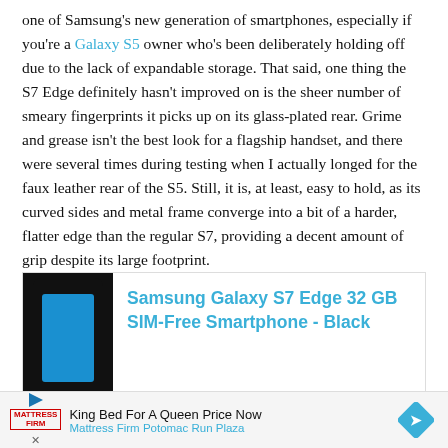one of Samsung's new generation of smartphones, especially if you're a Galaxy S5 owner who's been deliberately holding off due to the lack of expandable storage. That said, one thing the S7 Edge definitely hasn't improved on is the sheer number of smeary fingerprints it picks up on its glass-plated rear. Grime and grease isn't the best look for a flagship handset, and there were several times during testing when I actually longed for the faux leather rear of the S5. Still, it is, at least, easy to hold, as its curved sides and metal frame converge into a bit of a harder, flatter edge than the regular S7, providing a decent amount of grip despite its large footprint.
[Figure (photo): Advertisement box showing Samsung Galaxy S7 Edge smartphone (black) with blue screen, alongside product title text in cyan: 'Samsung Galaxy S7 Edge 32 GB SIM-Free Smartphone - Black']
[Figure (infographic): Bottom advertisement banner for Mattress Firm Potomac Run Plaza. Contains play button icon, Mattress Firm logo, text 'King Bed For A Queen Price Now', 'Mattress Firm Potomac Run Plaza', a blue diamond navigation icon, and a close X button.]